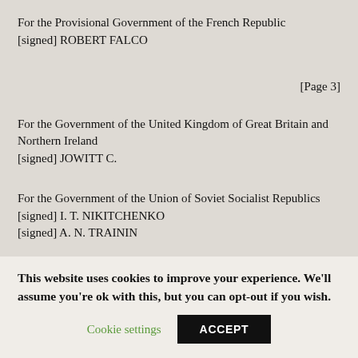For the Provisional Government of the French Republic
[signed] ROBERT FALCO
[Page 3]
For the Government of the United Kingdom of Great Britain and Northern Ireland
[signed] JOWITT C.
For the Government of the Union of Soviet Socialist Republics
[signed] I. T. NIKITCHENKO
[signed] A. N. TRAININ
This website uses cookies to improve your experience. We'll assume you're ok with this, but you can opt-out if you wish.
Cookie settings
ACCEPT